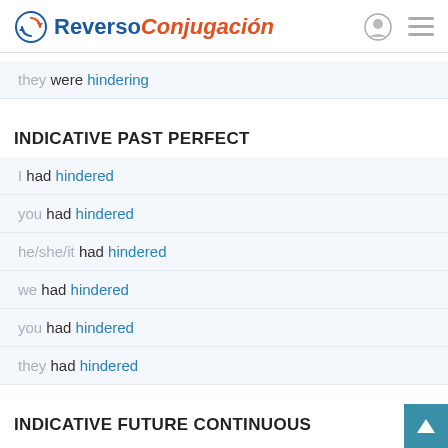Reverso Conjugación
they were hindering
INDICATIVE PAST PERFECT
I had hindered
you had hindered
he/she/it had hindered
we had hindered
you had hindered
they had hindered
INDICATIVE FUTURE CONTINUOUS